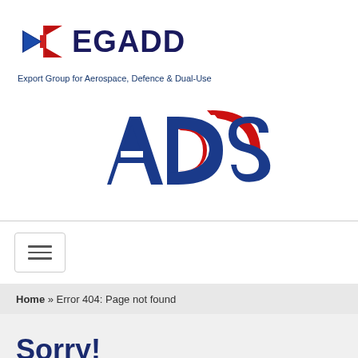[Figure (logo): EGADD logo with stylized arrow icons in blue and red, text 'EGADD' in dark navy, tagline 'Export Group for Aerospace, Defence & Dual-Use']
[Figure (logo): ADS logo with large red and blue letters 'ADS' and a red curved swoosh element in the top right]
Home » Error 404: Page not found
Sorry!
The page you were looking for could not be found